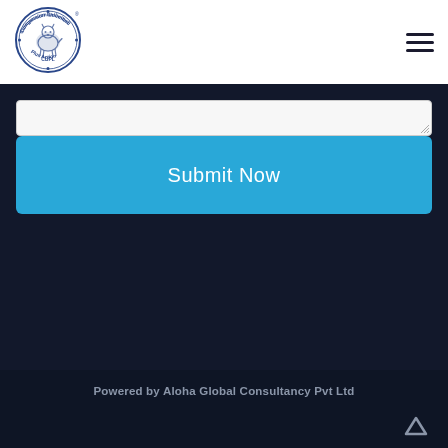[Figure (logo): Compassion Unlimited Plus Action circular logo with animal illustration in blue and white]
[Figure (other): Hamburger menu icon (three horizontal lines)]
[Figure (other): Textarea input field (partially visible, bottom portion)]
Submit Now
Powered by Aloha Global Consultancy Pvt Ltd